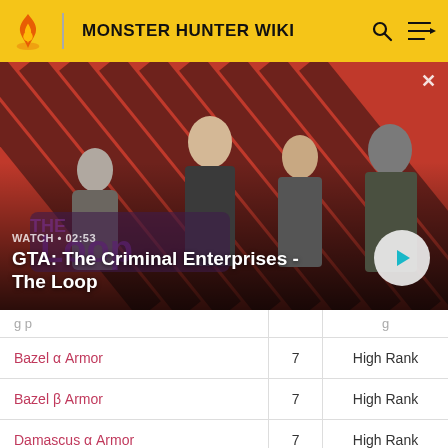MONSTER HUNTER WIKI
[Figure (screenshot): GTA: The Criminal Enterprises - The Loop video thumbnail with characters on striped red/dark background. Shows WATCH • 02:53 label and play button.]
|  |  |  |
| --- | --- | --- |
| Bazel α Armor | 7 | High Rank |
| Bazel β Armor | 7 | High Rank |
| Damascus α Armor | 7 | High Rank |